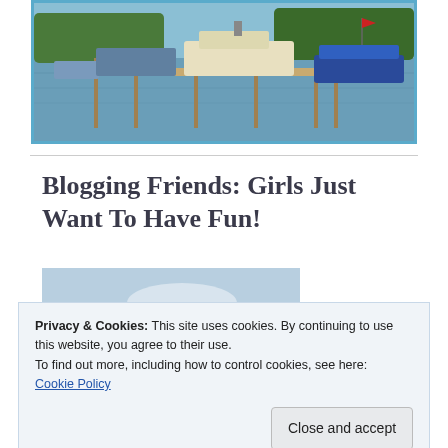[Figure (photo): A marina with boats docked at a pier on a lake, viewed from above slightly. A large white boat and a blue pontoon boat are visible alongside wooden dock structures on calm water.]
Blogging Friends: Girls Just Want To Have Fun!
[Figure (photo): An outdoor nature photo showing a rocky cliff or hillside on the left with blue sky and clouds in the background.]
Privacy & Cookies: This site uses cookies. By continuing to use this website, you agree to their use.
To find out more, including how to control cookies, see here:
Cookie Policy
Close and accept